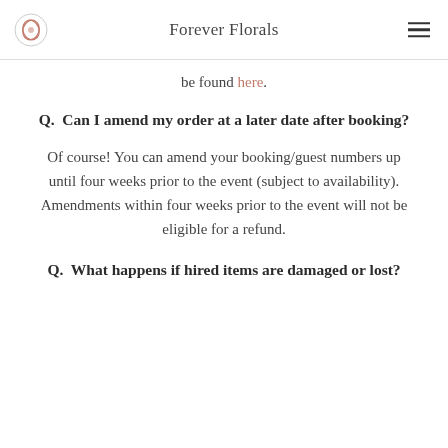Forever Florals
be found here.
Q.  Can I amend my order at a later date after booking?
Of course! You can amend your booking/guest numbers up until four weeks prior to the event (subject to availability). Amendments within four weeks prior to the event will not be eligible for a refund.
Q.  What happens if hired items are damaged or lost?